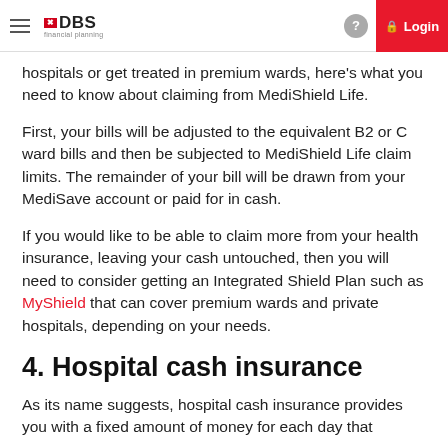DBS financial planning — Login
hospitals or get treated in premium wards, here's what you need to know about claiming from MediShield Life.
First, your bills will be adjusted to the equivalent B2 or C ward bills and then be subjected to MediShield Life claim limits. The remainder of your bill will be drawn from your MediSave account or paid for in cash.
If you would like to be able to claim more from your health insurance, leaving your cash untouched, then you will need to consider getting an Integrated Shield Plan such as MyShield that can cover premium wards and private hospitals, depending on your needs.
4. Hospital cash insurance
As its name suggests, hospital cash insurance provides you with a fixed amount of money for each day that